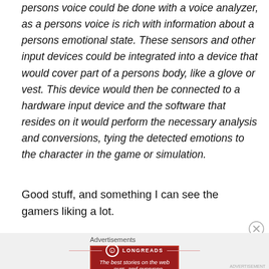persons voice could be done with a voice analyzer, as a persons voice is rich with information about a persons emotional state. These sensors and other input devices could be integrated into a device that would cover part of a persons body, like a glove or vest. This device would then be connected to a hardware input device and the software that resides on it would perform the necessary analysis and conversions, tying the detected emotions to the character in the game or simulation.
Good stuff, and something I can see the gamers liking a lot.
Advertisements
[Figure (other): Longreads advertisement banner in dark red with logo and tagline: The best stories on the web — ours, and everyone else's.]